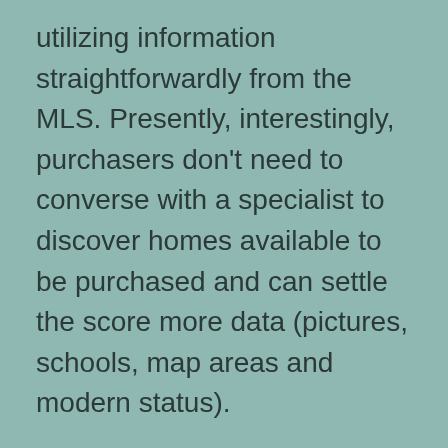utilizing information straightforwardly from the MLS. Presently, interestingly, purchasers don't need to converse with a specialist to discover homes available to be purchased and can settle the score more data (pictures, schools, map areas and modern status).
These days the cost of creating these excellent sites has boiled down to where the normal specialist with the right abilities can construct their own. We presently see a blast of Real Estate sites and it appears to be a large portion of them have home inquiry highlights. This leaves purchasers befuddled on which